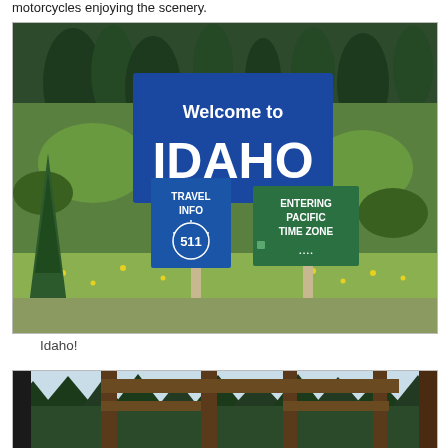motorcycles enjoying the scenery.
[Figure (photo): A 'Welcome to Idaho' blue highway sign with two smaller signs below: 'Travel Info 511' and 'Entering Pacific Time Zone', set against a hillside with green pine trees and summer vegetation.]
Idaho!
[Figure (photo): A wooden ranch or park entrance gate structure with pine forest in the background, partially cropped at bottom of page.]